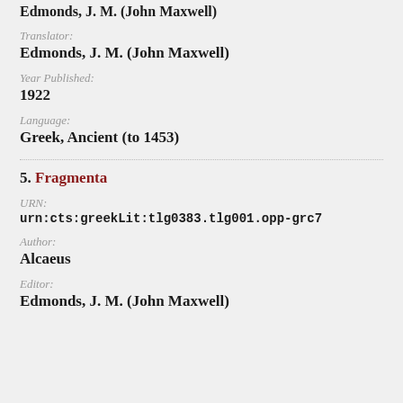Edmonds, J. M. (John Maxwell)
Translator:
Edmonds, J. M. (John Maxwell)
Year Published:
1922
Language:
Greek, Ancient (to 1453)
5. Fragmenta
URN:
urn:cts:greekLit:tlg0383.tlg001.opp-grc7
Author:
Alcaeus
Editor:
Edmonds, J. M. (John Maxwell)